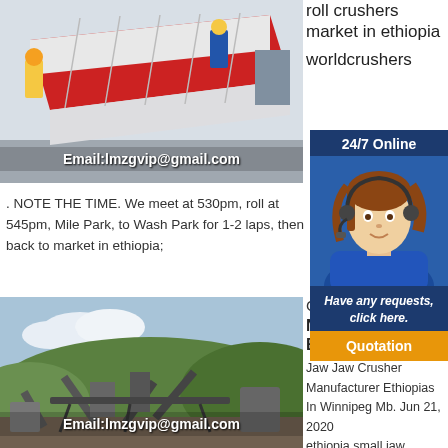[Figure (photo): Workers with industrial vibrating screen/conveyor equipment in a factory, with email overlay 'Email:lmzgvip@gmail.com']
roll crushers market in ethiopia

worldcrushers
[Figure (infographic): 24/7 Online chat widget with female agent wearing headset, 'Have any requests, click here.' and Quotation button]
. NOTE THE TIME. We meet at 530pm, roll at 545pm, Mile Park, to Wash Park for 1-2 laps, then back to market in ethiopia;
[Figure (photo): Outdoor stone crushing plant / quarry plant with conveyors and green hills in background, with email overlay 'Email:lmzgvip@gmail.com']
Cru
North East Ethiopia
Jaw Jaw Crusher Manufacturer Ethiopias In Winnipeg Mb. Jun 21, 2020
ethiopia small jaw